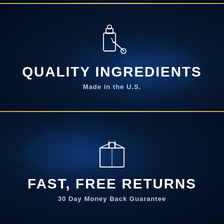[Figure (illustration): White outline icon of a dropper bottle with a dropper/pipette on a dark navy background with light streaks]
QUALITY INGREDIENTS
Made in the U.S.
[Figure (illustration): White outline icon of a shipping box on a dark navy background with light streaks]
FAST, FREE RETURNS
30 Day Money Back Guarantee